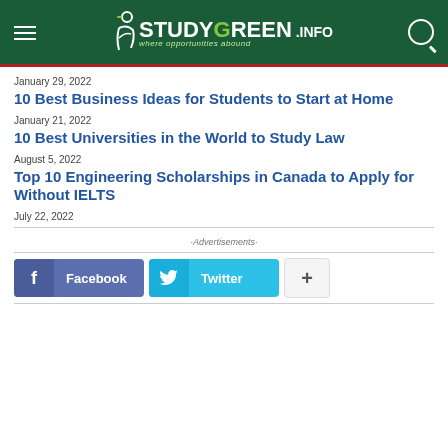[Figure (logo): StudyGreen.info website header with logo, hamburger menu, and search icon on dark green background]
January 29, 2022
10 Best Business Ideas for Students to Start at Home
January 21, 2022
10 Best Universities in the World to Study Law
August 5, 2022
Top 10 Engineering Scholarships in Canada to Apply for Without IELTS
July 22, 2022
·Advertisements·
[Figure (infographic): Social share buttons: Facebook, Twitter, and a plus/more button]